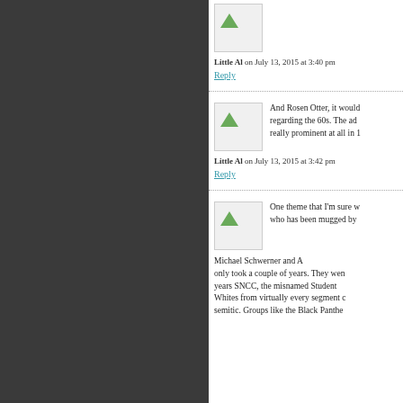[Figure (photo): Avatar/profile image placeholder with small green triangle icon, for comment by Little Al]
Little Al on July 13, 2015 at 3:40 pm
Reply
[Figure (photo): Avatar/profile image placeholder with small green triangle icon]
And Rosen Otter, it would regarding the 60s. The ad really prominent at all in 1
Little Al on July 13, 2015 at 3:42 pm
Reply
[Figure (photo): Avatar/profile image placeholder with small green triangle icon]
One theme that I'm sure w who has been mugged by
Michael Schwerner and A only took a couple of years. They wen years SNCC, the misnamed Student Whites from virtually every segment c semitic. Groups like the Black Panthe